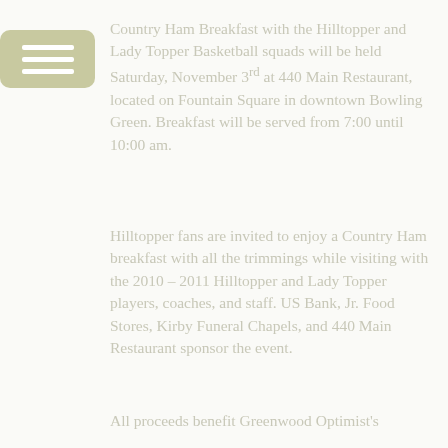[Figure (other): Rounded rectangle menu/hamburger icon in olive/khaki green with three white horizontal lines]
Country Ham Breakfast with the Hilltopper and Lady Topper Basketball squads will be held Saturday, November 3rd at 440 Main Restaurant, located on Fountain Square in downtown Bowling Green. Breakfast will be served from 7:00 until 10:00 am.
Hilltopper fans are invited to enjoy a Country Ham breakfast with all the trimmings while visiting with the 2010 – 2011 Hilltopper and Lady Topper players, coaches, and staff. US Bank, Jr. Food Stores, Kirby Funeral Chapels, and 440 Main Restaurant sponsor the event.
All proceeds benefit Greenwood Optimist's